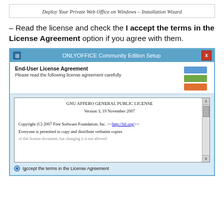Deploy Your Private Web Office on Windows – Installation Wizard
– Read the license and check the I accept the terms in the License Agreement option if you agree with them.
[Figure (screenshot): ONLYOFFICE Community Edition Setup window showing End-User License Agreement screen with GNU AFFERO GENERAL PUBLIC LICENSE text and 'I accept the terms in the License Agreement' radio button selected.]